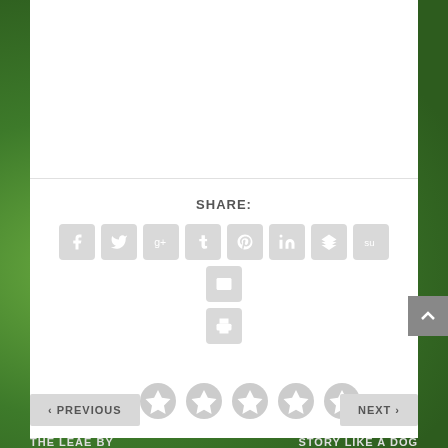[Figure (screenshot): Social sharing widget on a blog page with green leafy background. Contains a white card with share buttons (Facebook, Twitter, Google+, Tumblr, Pinterest, LinkedIn, Buffer, StumbleUpon, Email, Print), a star rating row labeled RATE:, and navigation buttons for PREVIOUS and NEXT articles (THE LEAE BY and STORY LIKE A DOG).]
SHARE:
RATE:
< PREVIOUS
NEXT >
THE LEAE BY
STORY LIKE A DOG